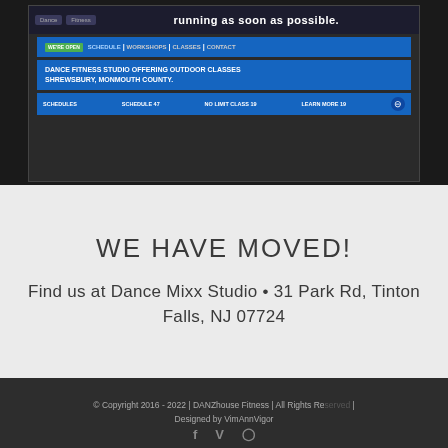[Figure (screenshot): Screenshot of a dance fitness studio website showing navigation bar, 'running as soon as possible.' heading, and a blue banner reading 'DANCE FITNESS STUDIO OFFERING OUTDOOR CLASSES SHREWSBURY, MONMOUTH COUNTY.' with a bottom navigation bar]
WE HAVE MOVED!
Find us at Dance Mixx Studio • 31 Park Rd, Tinton Falls, NJ 07724
© Copyright 2016 - 2022 | DANZhouse Fitness | All Rights Reserved | Designed by VimAnnVigor